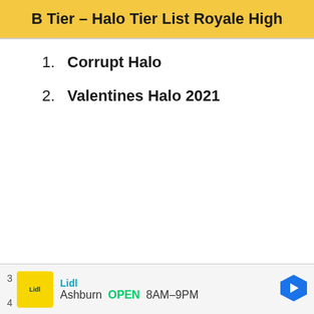B Tier – Halo Tier List Royale High
1. Corrupt Halo
2. Valentines Halo 2021
Ad: Lidl – Ashburn OPEN 8AM–9PM